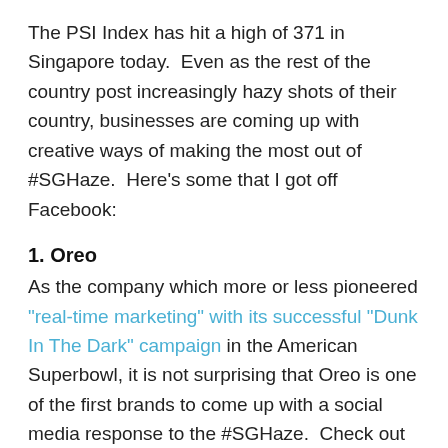The PSI Index has hit a high of 371 in Singapore today.  Even as the rest of the country post increasingly hazy shots of their country, businesses are coming up with creative ways of making the most out of #SGHaze.  Here's some that I got off Facebook:
1. Oreo
As the company which more or less pioneered "real-time marketing" with its successful "Dunk In The Dark" campaign in the American Superbowl, it is not surprising that Oreo is one of the first brands to come up with a social media response to the #SGHaze.  Check out their gas mask with Oreo stuffing.